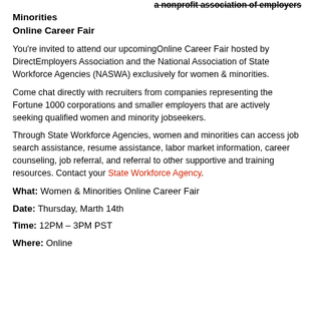a nonprofit association of employers
Minorities
Online Career Fair
You're invited to attend our upcomingOnline Career Fair hosted by DirectEmployers Association and the National Association of State Workforce Agencies (NASWA) exclusively for women & minorities.
Come chat directly with recruiters from companies representing the Fortune 1000 corporations and smaller employers that are actively seeking qualified women and minority jobseekers.
Through State Workforce Agencies, women and minorities can access job search assistance, resume assistance, labor market information, career counseling, job referral, and referral to other supportive and training resources. Contact your State Workforce Agency.
What: Women & Minorities Online Career Fair
Date: Thursday, Marth 14th
Time: 12PM – 3PM PST
Where: Online